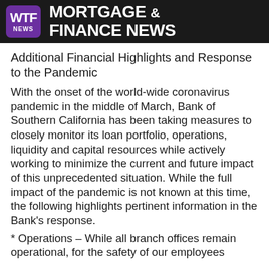WTF NEWS MORTGAGE & FINANCE NEWS
Additional Financial Highlights and Response to the Pandemic
With the onset of the world-wide coronavirus pandemic in the middle of March, Bank of Southern California has been taking measures to closely monitor its loan portfolio, operations, liquidity and capital resources while actively working to minimize the current and future impact of this unprecedented situation. While the full impact of the pandemic is not known at this time, the following highlights pertinent information in the Bank’s response.
* Operations – While all branch offices remain operational, for the safety of our employees